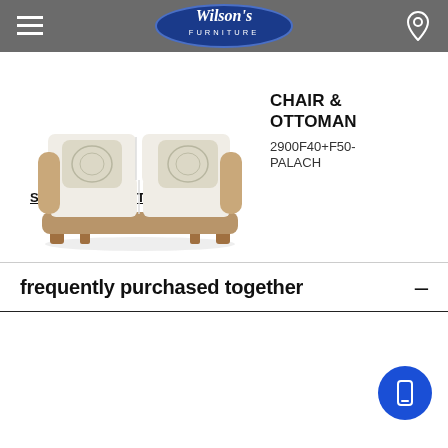Wilson's Furniture
SHOP MORE OTTOMANS
frequently purchased together
[Figure (photo): Photo of a cream/off-white loveseat sofa with decorative pillows and wooden frame]
CHAIR & OTTOMAN
2900F40+F50-PALACH